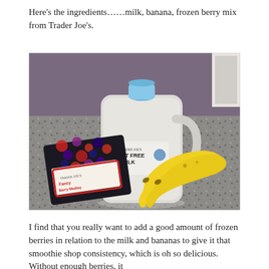Here's the ingredients……milk, banana, frozen berry mix from Trader Joe's.
[Figure (photo): Photo of smoothie ingredients on a granite countertop against a purple wall: a large jug of Trader Joe's Fat Free Milk, a package of Trader Joe's frozen Berry Medley, and two bananas.]
I find that you really want to add a good amount of frozen berries in relation to the milk and bananas to give it that smoothie shop consistency, which is oh so delicious. Without enough berries, it